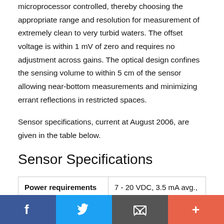microprocessor controlled, thereby choosing the appropriate range and resolution for measurement of extremely clean to very turbid waters. The offset voltage is within 1 mV of zero and requires no adjustment across gains. The optical design confines the sensing volume to within 5 cm of the sensor allowing near-bottom measurements and minimizing errant reflections in restricted spaces.
Sensor specifications, current at August 2006, are given in the table below.
Sensor Specifications
| Power requirements | 7 - 20 VDC, 3.5 mA avg., 6 mA pk. |
| --- | --- |
| Power requirements | 7 - 20 VDC, 3.5 mA avg., 6 mA pk. |